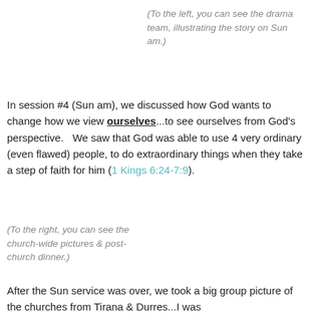(To the left, you can see the drama team, illustrating the story on Sun am.)
In session #4 (Sun am), we discussed how God wants to change how we view ourselves...to see ourselves from God’s perspective.   We saw that God was able to use 4 very ordinary (even flawed) people, to do extraordinary things when they take a step of faith for him (1 Kings 6:24-7:9).
(To the right, you can see the church-wide pictures & post-church dinner.)
After the Sun service was over, we took a big group picture of the churches from Tirana & Durres...I was